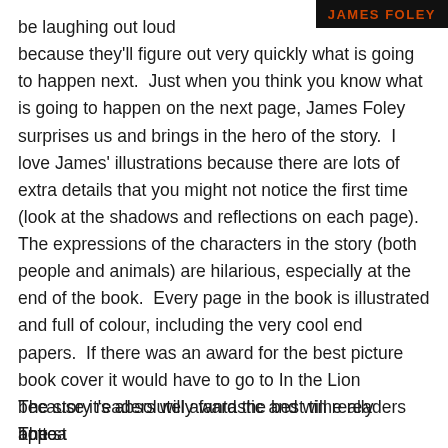[Figure (logo): Black background banner with 'JAMES FOLEY' text in orange/red bold uppercase letters]
be laughing out loud because they'll figure out very quickly what is going to happen next.  Just when you think you know what is going to happen on the next page, James Foley surprises us and brings in the hero of the story.  I love James' illustrations because there are lots of extra details that you might not notice the first time (look at the shadows and reflections on each page). The expressions of the characters in the story (both people and animals) are hilarious, especially at the end of the book.  Every page in the book is illustrated and full of colour, including the very cool end papers.  If there was an award for the best picture book cover it would have to go to In the Lion because it's absolutely fantastic and will really appeal to children.
The story readers will award the best time readers botto